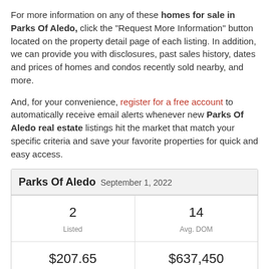For more information on any of these homes for sale in Parks Of Aledo, click the "Request More Information" button located on the property detail page of each listing. In addition, we can provide you with disclosures, past sales history, dates and prices of homes and condos recently sold nearby, and more.
And, for your convenience, register for a free account to automatically receive email alerts whenever new Parks Of Aledo real estate listings hit the market that match your specific criteria and save your favorite properties for quick and easy access.
| Parks Of Aledo  September 1, 2022 |  |
| --- | --- |
| 2
Listed | 14
Avg. DOM |
| $207.65
Avg. $ / Sq.Ft. | $637,450
Med. List Price |